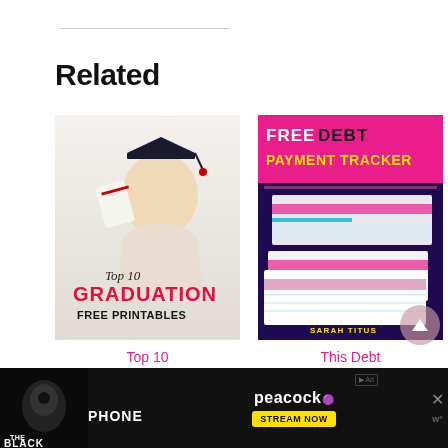Related
[Figure (photo): Thumbnail image for 'Top 10 Graduation Free Printables' showing a smiling blonde woman in graduation cap holding a diploma, with text overlay reading 'Top 10 GRADUATION FREE PRINTABLES']
Top 10 Graduation
[Figure (photo): Thumbnail image for 'This Debt Payoff' showing a pink and purple graphic with text 'FREE DEBT PAYMENT TRACKER' and spreadsheet pages, by Sarah Titus]
This Debt Payoff
[Figure (other): Advertisement banner for 'The Black Phone' on Peacock - Stream Now]